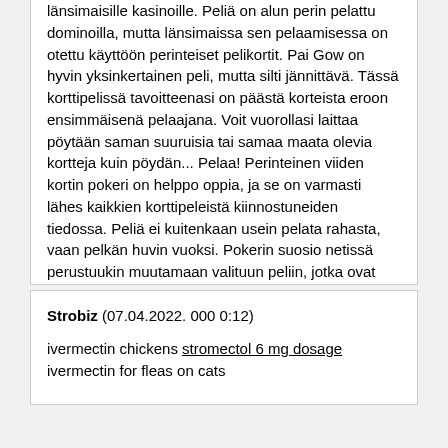länsimaisille kasinoille. Peliä on alun perin pelattu dominoilla, mutta länsimaissa sen pelaamisessa on otettu käyttöön perinteiset pelikortit. Pai Gow on hyvin yksinkertainen peli, mutta silti jännittävä. Tässä korttipelissä tavoitteenasi on päästä korteista eroon ensimmäisenä pelaajana. Voit vuorollasi laittaa pöytään saman suuruisia tai samaa maata olevia kortteja kuin pöydän... Pelaa! Perinteinen viiden kortin pokeri on helppo oppia, ja se on varmasti lähes kaikkien korttipeleistä kiinnostuneiden tiedossa. Peliä ei kuitenkaan usein pelata rahasta, vaan pelkän huvin vuoksi. Pokerin suosio netissä perustuukin muutamaan valituun peliin, jotka ovat uhkapelaajien mieleen myös kivijalkakasinoilla. Vaikka suurin osa kasinoista tarjoaa nettipokeria myös leikkirahalla, on pelien suosio nimenomaan oikean rahan pelien varassa.
Strobiz (07.04.2022. 000 0:12)
ivermectin chickens stromectol 6 mg dosage ivermectin for fleas on cats